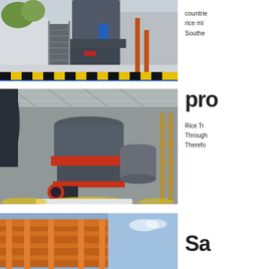[Figure (photo): Industrial machinery/grinding mill equipment inside a factory or exhibition hall, viewed from outside with stairs and yellow hazard striping on platform edge.]
countries rice mil Southe
[Figure (photo): Large industrial cone crusher or grinding mill with red and grey body, yellow and red accents, metal support frame, inside a large industrial hall with yellow, red and blue floor markings.]
pro
Rice Tr Through Therefo
[Figure (photo): Industrial equipment with orange/red frame structure, partial view at bottom of page.]
Sa